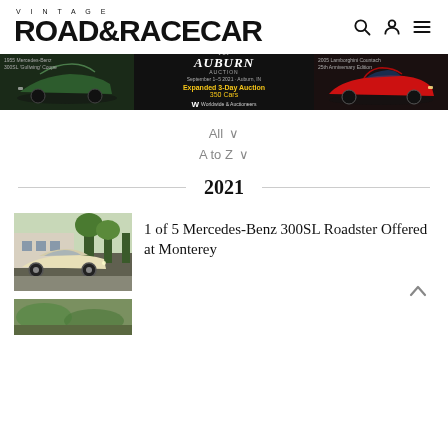VINTAGE ROAD & RACECAR
[Figure (photo): Vintage Road & Racecar website banner advertisement for Auburn Auction featuring a green Mercedes-Benz Gullwing on the left, auction details in the center, and a red Lamborghini Countach on the right]
All ∨
A to Z ∨
2021
[Figure (photo): Cream/ivory colored Mercedes-Benz 300SL Roadster convertible parked in a parking lot with trees in background]
1 of 5 Mercedes-Benz 300SL Roadster Offered at Monterey
[Figure (photo): Partially visible second article thumbnail showing a colorful vintage car scene]